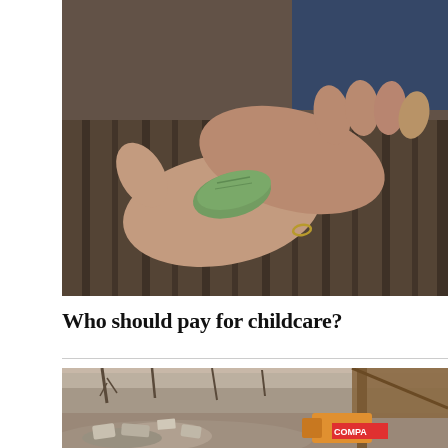[Figure (photo): Close-up photo of two hands clasped together holding folded dollar bills, resting on a striped fabric surface. One hand wears a ring.]
Who should pay for childcare?
[Figure (photo): Outdoor scene showing a large pile of rubble and debris, with bare trees in the background and a wooden structure/awning visible on the right. A COMPAC sign is visible among the debris.]